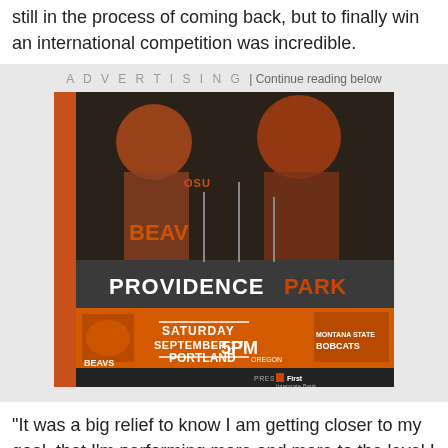still in the process of coming back, but to finally win an international competition was incredible.
[Figure (photo): Photo of Providence Park stadium scoreboard showing an Oregon State Beavers vs Montana State Bobcats football game advertisement - Saturday September 17, 5PM Portland Oregon, presented by First Interstate Bank. Above the scoreboard is a large mural of OSU football players.]
"It was a big relief to know I am getting closer to my goal, that I'm performing more and more to the level I expect of myself. And the cherry on top was having that result send me to Tokyo."
Zagunis is the biggest name ever in the U.S. fencing scene, with two